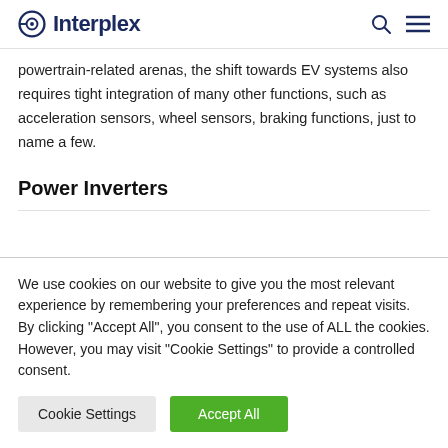Interplex
powertrain-related arenas, the shift towards EV systems also requires tight integration of many other functions, such as acceleration sensors, wheel sensors, braking functions, just to name a few.
Power Inverters
We use cookies on our website to give you the most relevant experience by remembering your preferences and repeat visits. By clicking "Accept All", you consent to the use of ALL the cookies. However, you may visit "Cookie Settings" to provide a controlled consent.